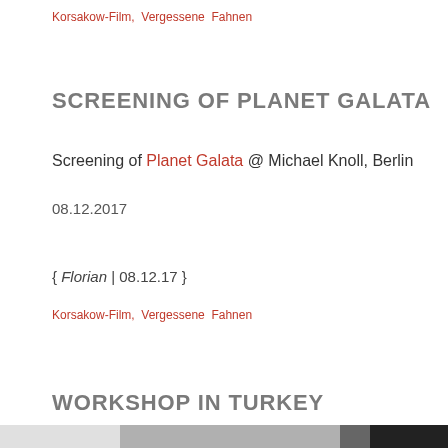Korsakow-Film, Vergessene Fahnen
SCREENING OF PLANET GALATA
Screening of Planet Galata @ Michael Knoll, Berlin
08.12.2017
{ Florian | 08.12.17 }
Korsakow-Film, Vergessene Fahnen
WORKSHOP IN TURKEY
[Figure (photo): Black and white photo of a room with projection screen and equipment, partially cut off at bottom of page]